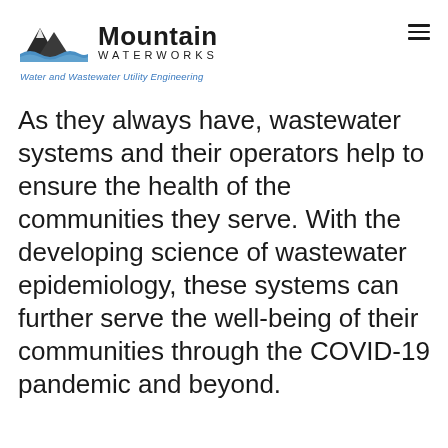[Figure (logo): Mountain Waterworks logo with mountain and water wave graphic, bold 'Mountain' text and 'WATERWORKS' in spaced capitals, tagline 'Water and Wastewater Utility Engineering' in italic blue text below]
As they always have, wastewater systems and their operators help to ensure the health of the communities they serve. With the developing science of wastewater epidemiology, these systems can further serve the well-being of their communities through the COVID-19 pandemic and beyond.